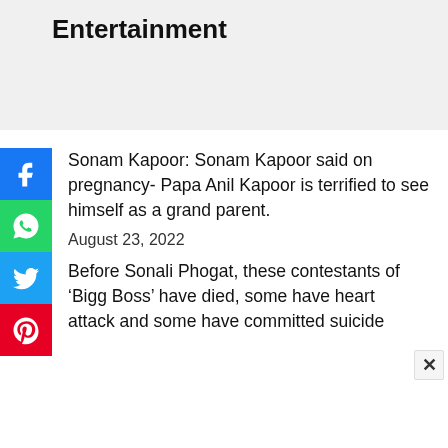Entertainment
Sonam Kapoor: Sonam Kapoor said on pregnancy- Papa Anil Kapoor is terrified to see himself as a grand parent.
August 23, 2022
Before Sonali Phogat, these contestants of ‘Bigg Boss’ have died, some have heart attack and some have committed suicide